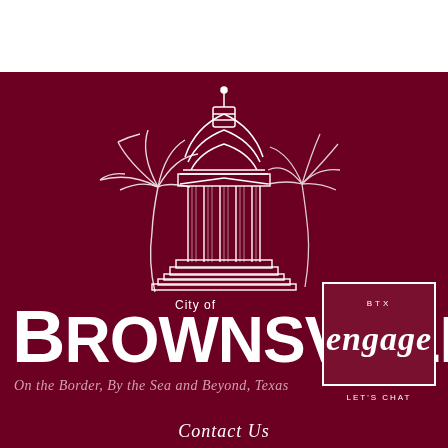[Figure (logo): City of Brownsville logo: white outline illustration of a domed civic building with palm trees on a dark maroon background, with 'City of BROWNSVILLE' text and tagline 'On the Border, By the Sea and Beyond, Texas']
[Figure (logo): BTX Engage badge — square outlined box with 'BTX' above stylized italic 'engage' text and 'LET'S CHAT' below]
Contact Us